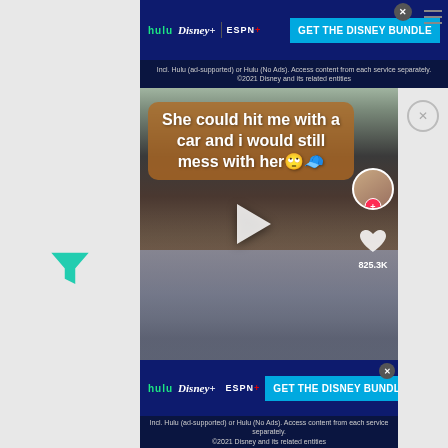[Figure (screenshot): Disney Bundle advertisement banner at top with Hulu, Disney+, ESPN+ logos and 'GET THE DISNEY BUNDLE' button. Fine print: Incl. Hulu (ad-supported) or Hulu (No Ads). Access content from each service separately. ©2021 Disney and its related entities]
[Figure (screenshot): TikTok video screenshot showing a young man sitting in a car, smiling. Text overlay reads 'She could hit me with a car and i would still mess with her 🙄🧢'. A play button is visible in the center. Right sidebar shows profile picture with follow button, heart icon, and 825.3K likes count.]
[Figure (screenshot): Disney Bundle advertisement banner at bottom with Hulu, Disney+, ESPN+ logos and 'GET THE DISNEY BUNDLE' button. Fine print: Incl. Hulu (ad-supported) or Hulu (No Ads). Access content from each service separately. ©2021 Disney and its related entities]